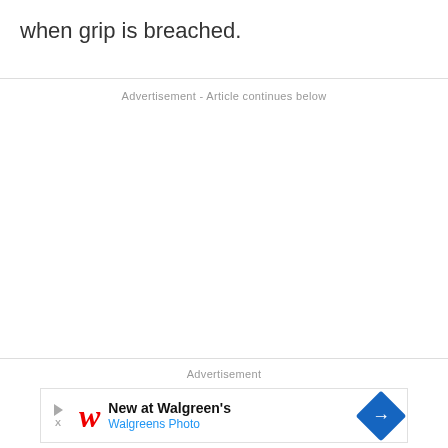when grip is breached.
Advertisement - Article continues below
Advertisement
[Figure (other): Walgreens advertisement banner with logo, 'New at Walgreen's' headline, 'Walgreens Photo' subheading, and a blue diamond arrow icon]